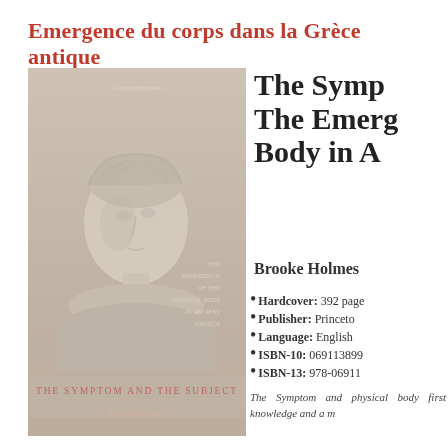Emergence du corps dans la Grèce antique
[Figure (photo): Book cover of 'The Symptom and the Subject' by Brooke Holmes, showing a classical Greek bust sculpture (female figure) in sepia/monochrome tones. Text on cover reads 'THE EXPERIENCE OF THE PHYSICAL BODY IN ANCIENT GREECE'. Bottom of cover shows title 'THE SYMPTOM AND THE SUBJECT' in terracotta/red letters and author name 'Brooke Holmes' in italic.]
The Symptom and the Subject: The Emergence of the Physical Body in Ancient Greece
Brooke Holmes
Hardcover: 392 pages
Publisher: Princeton…
Language: English
ISBN-10: 069113899…
ISBN-13: 978-06911…
The Symptom and the physical body first knowledge and a m…